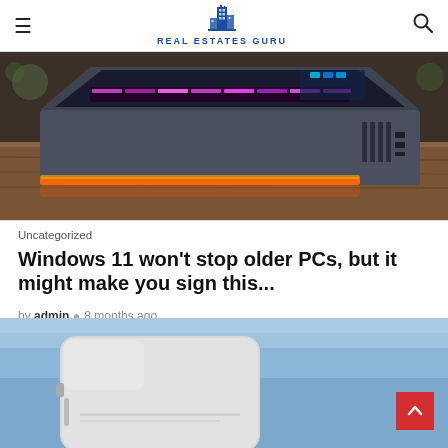REAL ESTATES GURU
[Figure (photo): Gaming laptop with RGB backlit keyboard and glowing orange ventilation strip on the bottom, placed on a wooden surface.]
Uncategorized
Windows 11 won't stop older PCs, but it might make you sign this...
by admin • 8 months ago
[Figure (photo): A white/gray mini PC or external device against a blue sky background.]